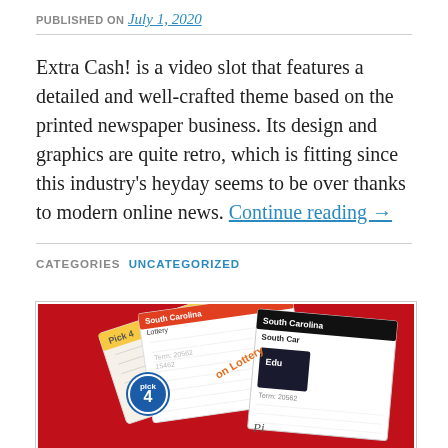PUBLISHED ON July 1, 2020
Extra Cash! is a video slot that features a detailed and well-crafted theme based on the printed newspaper business. Its design and graphics are quite retro, which is fitting since this industry's heyday seems to be over thanks to modern online news. Continue reading →
CATEGORIES UNCATEGORIZED
[Figure (photo): Lottery tickets fanned out on a red background, including South Carolina Lottery tickets and a Pick 4 ticket]